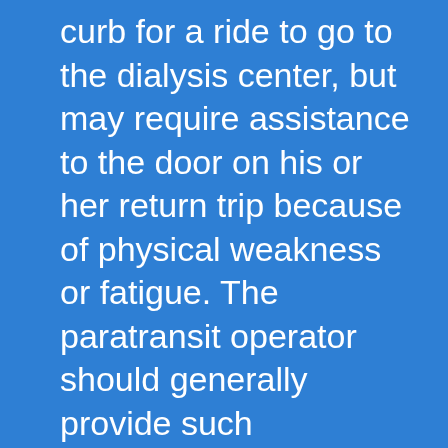curb for a ride to go to the dialysis center, but may require assistance to the door on his or her return trip because of physical weakness or fatigue. The paratransit operator should generally provide such assistance, unless doing so would create a direct threat, or leave the vehicle unattended or out of visual observation for a